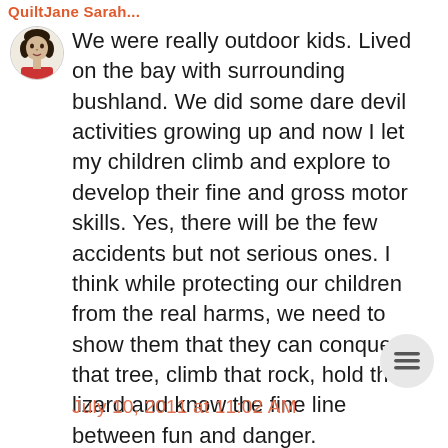QuiltJane Sarah...
We were really outdoor kids. Lived on the bay with surrounding bushland. We did some dare devil activities growing up and now I let my children climb and explore to develop their fine and gross motor skills. Yes, there will be the few accidents but not serious ones. I think while protecting our children from the real harms, we need to show them that they can conquer that tree, climb that rock, hold that lizard and know the fine line between fun and danger.
July 10, 2011 at 11:02 AM